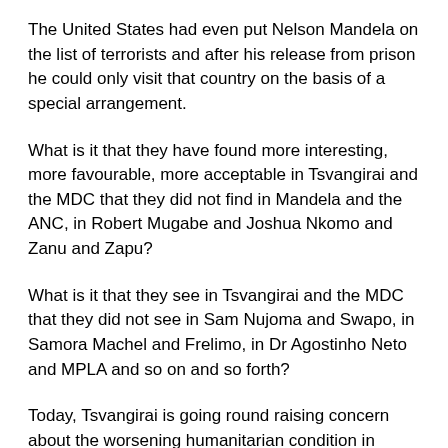The United States had even put Nelson Mandela on the list of terrorists and after his release from prison he could only visit that country on the basis of a special arrangement.
What is it that they have found more interesting, more favourable, more acceptable in Tsvangirai and the MDC that they did not find in Mandela and the ANC, in Robert Mugabe and Joshua Nkomo and Zanu and Zapu?
What is it that they see in Tsvangirai and the MDC that they did not see in Sam Nujoma and Swapo, in Samora Machel and Frelimo, in Dr Agostinho Neto and MPLA and so on and so forth?
Today, Tsvangirai is going round raising concern about the worsening humanitarian condition in Zimbabwe when he was the one who campaigned vigorously for sanctions against his own country, his own people.
Did he think the sanctions he was seeking, the isolation of